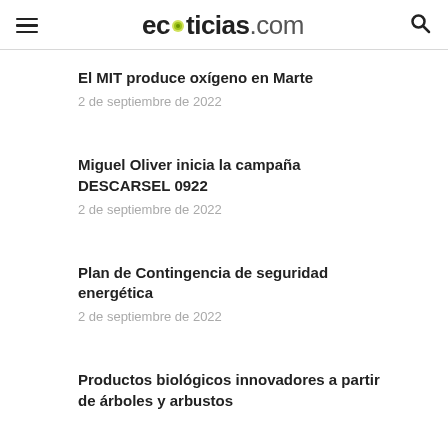ecoticias.com
El MIT produce oxígeno en Marte
2 de septiembre de 2022
Miguel Oliver inicia la campaña DESCARSEL 0922
2 de septiembre de 2022
Plan de Contingencia de seguridad energética
2 de septiembre de 2022
Productos biológicos innovadores a partir de árboles y arbustos